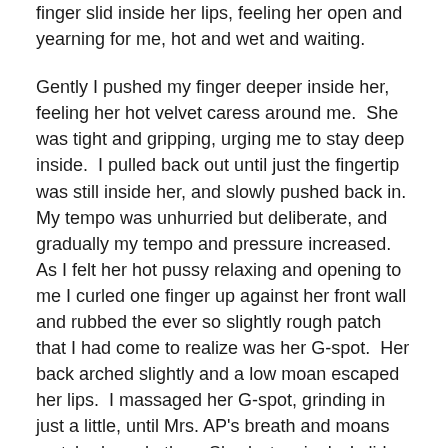finger slid inside her lips, feeling her open and yearning for me, hot and wet and waiting.
Gently I pushed my finger deeper inside her, feeling her hot velvet caress around me.  She was tight and gripping, urging me to stay deep inside.  I pulled back out until just the fingertip was still inside her, and slowly pushed back in.  My tempo was unhurried but deliberate, and gradually my tempo and pressure increased.  As I felt her hot pussy relaxing and opening to me I curled one finger up against her front wall and rubbed the ever so slightly rough patch that I had come to realize was her G-spot.  Her back arched slightly and a low moan escaped her lips.  I massaged her G-spot, grinding in just a little, until Mrs. AP's breath and moans matched my rhythm.  Slowly, teasingly, I slid another finger in alongside the first.